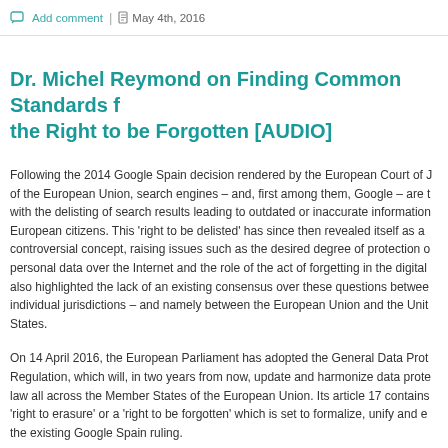Add comment | May 4th, 2016
Dr. Michel Reymond on Finding Common Standards for the Right to be Forgotten [AUDIO]
Following the 2014 Google Spain decision rendered by the European Court of Justice of the European Union, search engines – and, first among them, Google – are tasked with the delisting of search results leading to outdated or inaccurate information about European citizens. This 'right to be delisted' has since then revealed itself as a controversial concept, raising issues such as the desired degree of protection of personal data over the Internet and the role of the act of forgetting in the digital age. It also highlighted the lack of an existing consensus over these questions between individual jurisdictions – and namely between the European Union and the United States.
On 14 April 2016, the European Parliament has adopted the General Data Protection Regulation, which will, in two years from now, update and harmonize data protection law all across the Member States of the European Union. Its article 17 contains a 'right to erasure' or a 'right to be forgotten' which is set to formalize, unify and expand the existing Google Spain ruling.
But how to make that happen in practice? How can legal fragmentation be